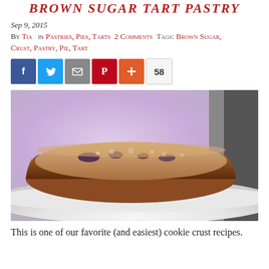Brown Sugar Tart Pastry
Sep 9, 2015
By Tia in Pastries, Pies, Tarts 2 Comments Tags: Brown Sugar, Crust, Pastry, Pie, Tart
[Figure (other): Social media sharing buttons: Facebook, Twitter, Email, Pinterest, plus-sign, and share count 58]
[Figure (photo): Close-up photograph of a brown sugar tart pastry crust on a white cake stand, with a purple/lavender blurred background]
This is one of our favorite (and easiest) cookie crust recipes.